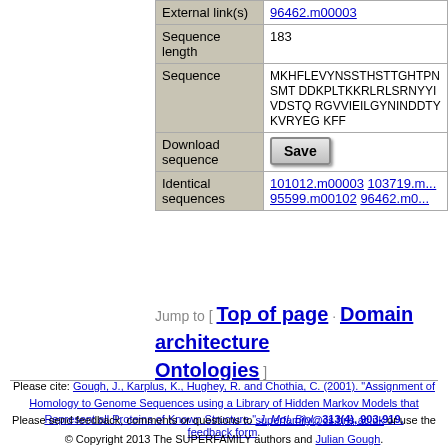| Field | Value |
| --- | --- |
| External link(s) | 96462.m00003 |
| Sequence length | 183 |
| Sequence | MKHFLEVYNSSTHSTTGHTPNSMT DDKPLTKKRLRLSRNYYIVDSTQC RGVVIEILGYNINDDTYKVRYEGC KFF |
| Download sequence | Save |
| Identical sequences | 101012.m00003 103719.m... 95599.m00102 96462.m0... |
Jump to [ Top of page · Domain architecture · Ontologies ]
Please cite: Gough, J., Karplus, K., Hughey, R. and Chothia, C. (2001). "Assignment of Homology to Genome Sequences using a Library of Hidden Markov Models that Represent all Proteins of Known Structure." J. Mol. Biol., 313(4), 903-919.
Please send feedback, comments or questions to superfamily@cs.bris.ac.uk or use the feedback form.
© Copyright 2013 The SUPERFAMILY authors and Julian Gough.